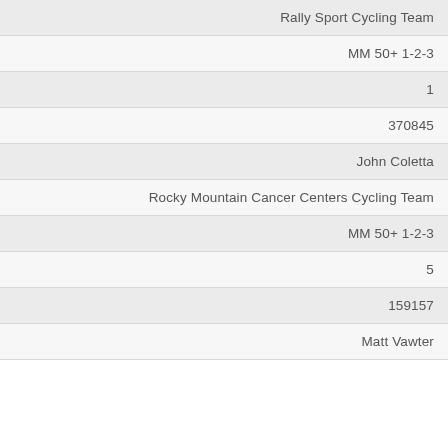| Rally Sport Cycling Team |
| MM 50+ 1-2-3 |
| 1 |
| 370845 |
| John Coletta |
| Rocky Mountain Cancer Centers Cycling Team |
| MM 50+ 1-2-3 |
| 5 |
| 159157 |
| Matt Vawter |